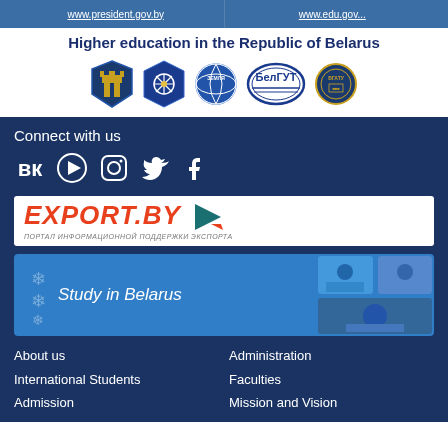www.president.gov.by   www.edu.gov...
Higher education in the Republic of Belarus
[Figure (logo): Row of five university logos/emblems for Belarusian higher education institutions]
Connect with us
[Figure (infographic): Social media icons: VK, YouTube, Instagram, Twitter, Facebook]
[Figure (logo): EXPORT.BY banner - Портал информационной поддержки экспорта]
[Figure (infographic): Study in Belarus banner with student photos]
About us
International Students
Admission
Administration
Faculties
Mission and Vision